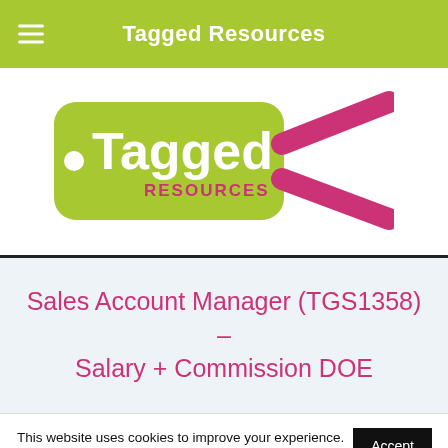Tagged Resources
[Figure (logo): Tagged Resources logo: a green price-tag shape with white text 'Tagged RESOURCES' and a pink/magenta scissors graphic to the right]
Sales Account Manager (TGS1358) – Salary + Commission DOE
This website uses cookies to improve your experience. We'll assume you're ok with this, but you can opt-out if you wish.
Accept
Reject
Read More